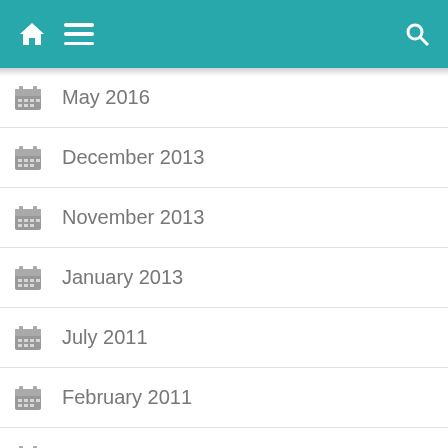Navigation bar with home, menu, and search icons
May 2016
December 2013
November 2013
January 2013
July 2011
February 2011
June 2010
May 2010
April 2010
February 2010
January 2010